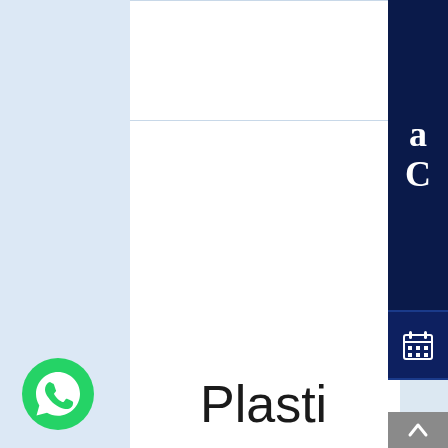[Figure (screenshot): Website interface showing left light blue sidebar, main white content area, right dark navy vertical navigation panel with large white serif letters at top, calendar icon section, green hashtag section, and bottom navy section. Bottom of page shows WhatsApp green phone icon on left and partial text 'Plasti' in large dark letters on right.]